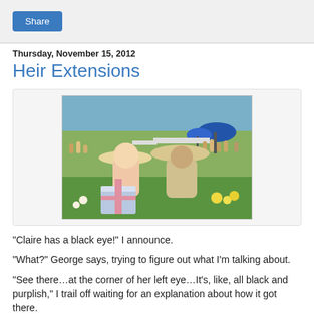Share
Thursday, November 15, 2012
Heir Extensions
[Figure (photo): Two women/girls at an outdoor garden party event, one young girl and a woman both wearing large hats, with wrapped gifts visible in foreground and crowd in background.]
"Claire has a black eye!" I announce.
"What?" George says, trying to figure out what I'm talking about.
"See there…at the corner of her left eye…It's, like, all black and purplish," I trail off waiting for an explanation about how it got there.